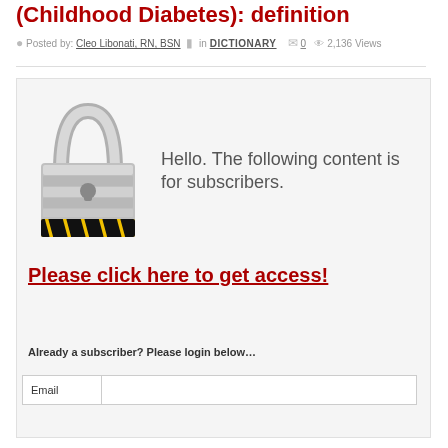(Childhood Diabetes): definition
Posted by: Cleo Libonati, RN, BSN  in DICTIONARY  0  2,136 Views
[Figure (illustration): A padlock image with yellow and black hazard stripes at the base, representing locked/subscriber-only content. Next to it the text reads: Hello. The following content is for subscribers.]
Please click here to get access!
Already a subscriber? Please login below…
Email